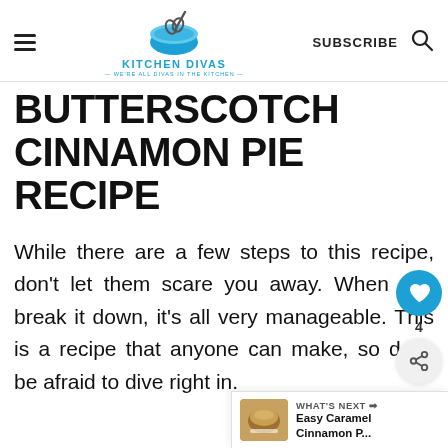KITCHEN DIVAS — WE'RE ALL DIVAS IN THE KITCHEN — | SUBSCRIBE
BUTTERSCOTCH CINNAMON PIE RECIPE
While there are a few steps to this recipe, don't let them scare you away. When you break it down, it's all very manageable. This is a recipe that anyone can make, so don't be afraid to dive right in.